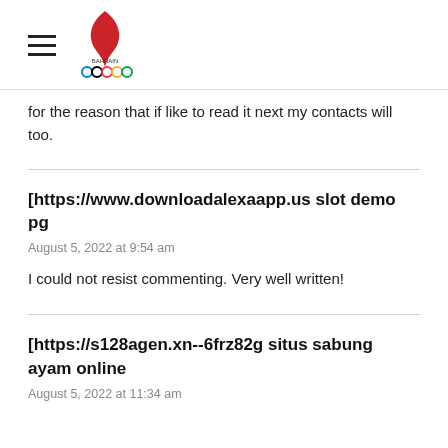Bahrain Olympic Committee
for the reason that if like to read it next my contacts will too.
[https://www.downloadalexaapp.us slot demo pg
August 5, 2022 at 9:54 am
I could not resist commenting. Very well written!
[https://s128agen.xn--6frz82g situs sabung ayam online
August 5, 2022 at 11:34 am